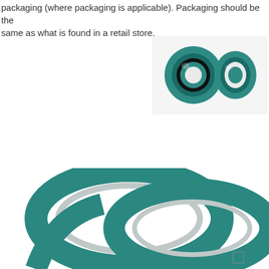packaging (where packaging is applicable). Packaging should be the same as what is found in a retail store.
[Figure (photo): Two small teal/green colored rubber seals or O-rings viewed from above on a white background]
[Figure (photo): Large teal/green colored fork seals (bicycle or motorcycle suspension fork seals) shown close-up, overlapping each other, with a metallic silver inner ring visible]